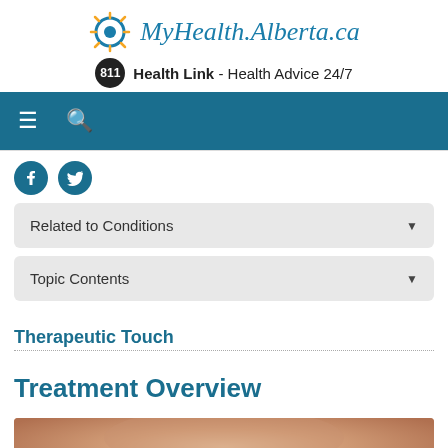MyHealth.Alberta.ca
811 Health Link - Health Advice 24/7
Related to Conditions
Topic Contents
Therapeutic Touch
Treatment Overview
[Figure (photo): Close-up photo of a person receiving therapeutic touch treatment, showing hands near a person's face/neck area.]